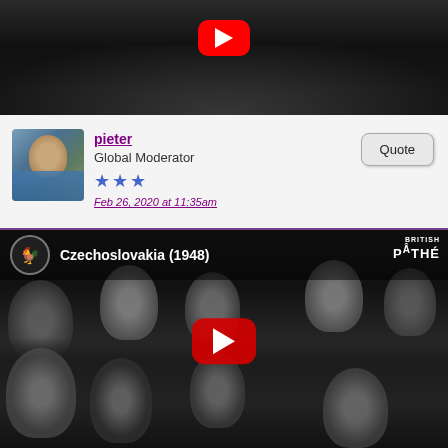[Figure (screenshot): Top portion of a video thumbnail showing black and white footage with a YouTube play button in red]
pieter
Global Moderator
★★★
Feb 26, 2020 at 11:35am
[Figure (screenshot): YouTube video embed thumbnail for 'Czechoslovakia (1948)' from British Pathé, showing black and white footage of a crowd of women with a red YouTube play button overlay]